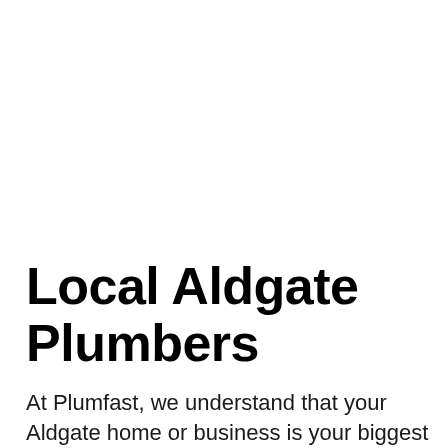Local Aldgate Plumbers
At Plumfast, we understand that your Aldgate home or business is your biggest investment. That's why we offer comprehensive plumbing services to help you keep your property in top condition. From fixing leaky taps to checking